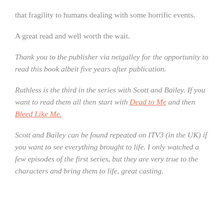that fragility to humans dealing with some horrific events.
A great read and well worth the wait.
Thank you to the publisher via netgalley for the opportunity to read this book albeit five years after publication.
Ruthless is the third in the series with Scott and Bailey. If you want to read them all then start with Dead to Me and then Bleed Like Me.
Scott and Bailey can be found repeated on ITV3 (in the UK) if you want to see everything brought to life. I only watched a few episodes of the first series, but they are very true to the characters and bring them to life, great casting.